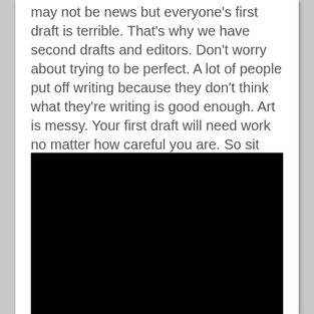may not be news but everyone's first draft is terrible. That's why we have second drafts and editors. Don't worry about trying to be perfect. A lot of people put off writing because they don't think what they're writing is good enough. Art is messy. Your first draft will need work no matter how careful you are. So sit down and type. The world needs your story.
[Figure (other): A large black rectangle filling the lower portion of the page, likely a video embed or image placeholder.]